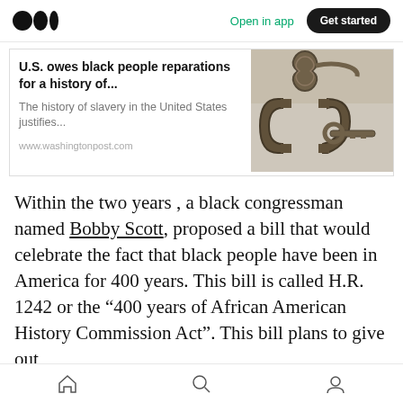Open in app | Get started
U.S. owes black people reparations for a history of...
The history of slavery in the United States justifies...
www.washingtonpost.com
[Figure (photo): Photograph of metal shackles/handcuffs against a light background]
Within the two years , a black congressman named Bobby Scott, proposed a bill that would celebrate the fact that black people have been in America for 400 years. This bill is called H.R. 1242 or the “400 years of African American History Commission Act”. This bill plans to give out
Home | Search | Profile